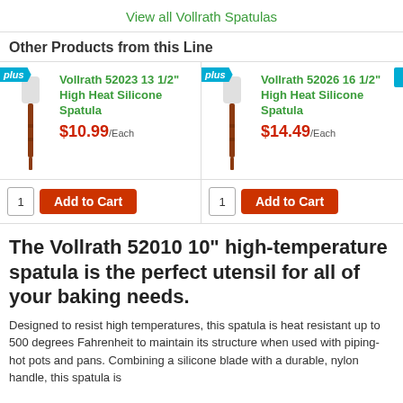View all Vollrath Spatulas
Other Products from this Line
[Figure (photo): Vollrath 52023 13 1/2 inch High Heat Silicone Spatula product image]
Vollrath 52023 13 1/2" High Heat Silicone Spatula
$10.99/Each
[Figure (photo): Vollrath 52026 16 1/2 inch High Heat Silicone Spatula product image]
Vollrath 52026 16 1/2" High Heat Silicone Spatula
$14.49/Each
The Vollrath 52010 10" high-temperature spatula is the perfect utensil for all of your baking needs.
Designed to resist high temperatures, this spatula is heat resistant up to 500 degrees Fahrenheit to maintain its structure when used with piping-hot pots and pans. Combining a silicone blade with a durable, nylon handle, this spatula is